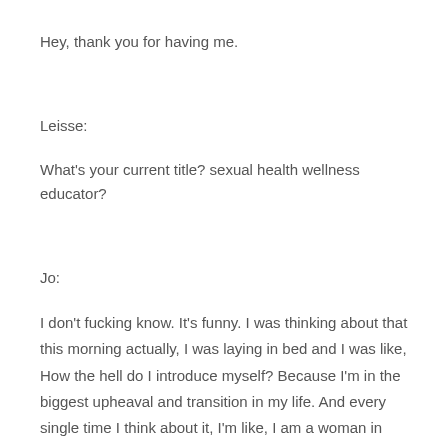Hey, thank you for having me.
Leisse:
What's your current title? sexual health wellness educator?
Jo:
I don't fucking know. It's funny. I was thinking about that this morning actually, I was laying in bed and I was like, How the hell do I introduce myself? Because I'm in the biggest upheaval and transition in my life. And every single time I think about it, I'm like, I am a woman in progress. I don't know, there's a progress bar. But if I think about what I do, and if I think about the doing aspect of my